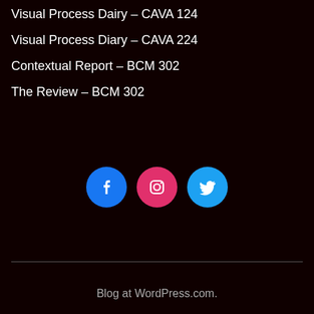Visual Process Dairy – CAVA 124
Visual Process Diary – CAVA 224
Contextual Report – BCM 302
The Review – BCM 302
[Figure (illustration): Three social media icon circles: Facebook (blue), Instagram (pink/magenta), Twitter (light blue)]
Blog at WordPress.com.